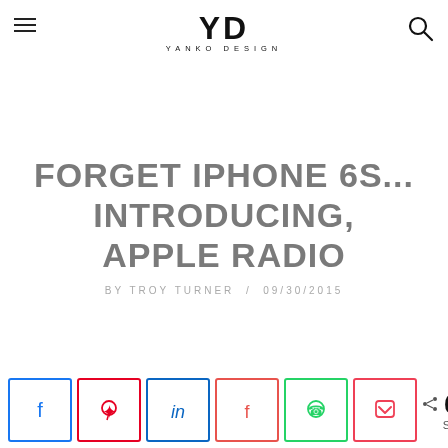YD YANKO DESIGN
FORGET IPHONE 6S... INTRODUCING, APPLE RADIO
BY TROY TURNER / 09/30/2015
[Figure (other): Social share bar with Facebook, Pinterest, LinkedIn, Flipboard, WhatsApp, Pocket buttons and share count of 613]